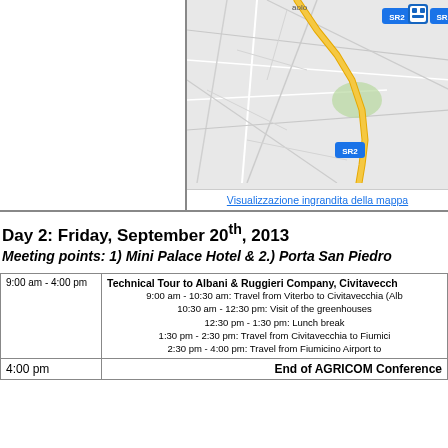[Figure (map): Street map showing SR2 road with yellow highlighted route in Civitavecchia/Viterbo area, with bus stop icon and SR2 markers]
Visualizzazione ingrandita della mappa
Day 2: Friday, September 20th, 2013
Meeting points: 1) Mini Palace Hotel & 2.) Porta San Piedro
| Time | Event |
| --- | --- |
| 9:00 am - 4:00 pm | Technical Tour to Albani & Ruggieri Company, Civitavecchia
9:00 am - 10:30 am: Travel from Viterbo to Civitavecchia (Alb...
10:30 am - 12:30 pm: Visit of the greenhouses
12:30 pm - 1:30 pm: Lunch break
1:30 pm - 2:30 pm: Travel from Civitavecchia to Fiumici...
2:30 pm - 4:00 pm: Travel from Fiumicino Airport to ... |
| 4:00 pm | End of AGRICOM Conference |